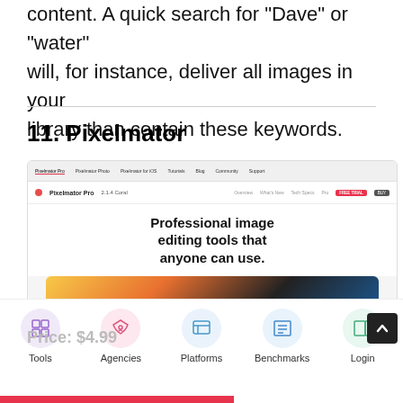content. A quick search for "Dave" or "water" will, for instance, deliver all images in your library than contain these keywords.
11. Pixelmator
[Figure (screenshot): Screenshot of the Pixelmator Pro website showing navigation bar, logo, and hero text 'Professional image editing tools that anyone can use.' with a partial image of a laptop below.]
Price: $4.99
Tools  Agencies  Platforms  Benchmarks  Login